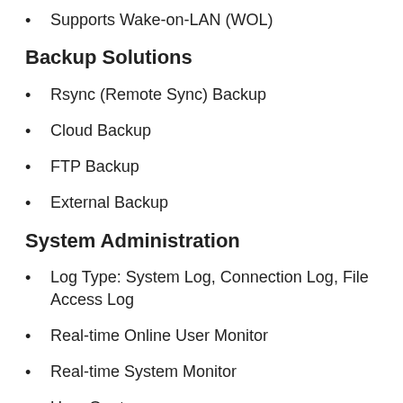Supports Wake-on-LAN (WOL)
Backup Solutions
Rsync (Remote Sync) Backup
Cloud Backup
FTP Backup
External Backup
System Administration
Log Type: System Log, Connection Log, File Access Log
Real-time Online User Monitor
Real-time System Monitor
User Quota